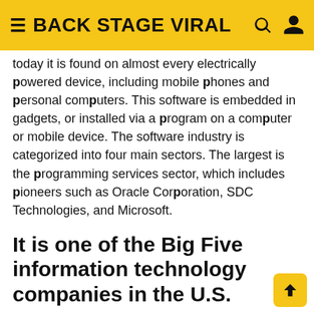BACK STAGE VIRAL
today it is found on almost every electrically powered device, including mobile phones and personal computers. This software is embedded in gadgets, or installed via a program on a computer or mobile device. The software industry is categorized into four main sectors. The largest is the programming services sector, which includes pioneers such as Oracle Corporation, SDC Technologies, and Microsoft.
It is one of the Big Five information technology companies in the U.S.
The biggest technology corporations in the world have an incredible amount of resources and